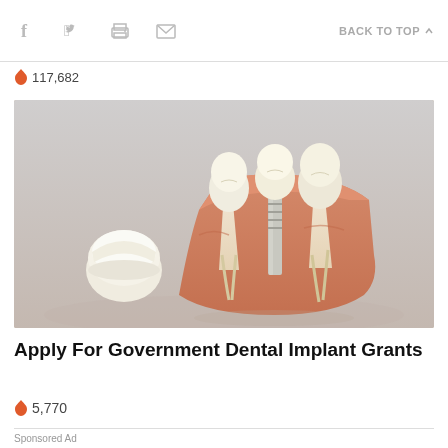f  (twitter)  (print)  (mail)   BACK TO TOP ▲
🔥 117,682
[Figure (photo): Dental implant anatomical model showing a cross-section of gums with tooth roots, a metal implant post, and a separate dental crown, set against a light gray background.]
Apply For Government Dental Implant Grants
🔥 5,770
Sponsored Ad